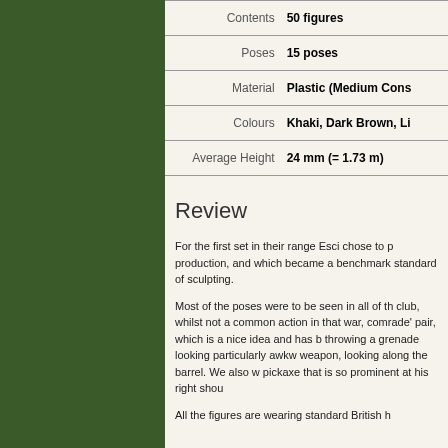|  |  |
| --- | --- |
| Contents | 50 figures |
| Poses | 15 poses |
| Material | Plastic (Medium Cons... |
| Colours | Khaki, Dark Brown, Li... |
| Average Height | 24 mm (= 1.73 m) |
Review
For the first set in their range Esci chose to p... production, and which became a benchmark... standard of sculpting.
Most of the poses were to be seen in all of th... club, whilst not a common action in that war,... comrade' pair, which is a nice idea and has b... throwing a grenade looking particularly awkw... weapon, looking along the barrel. We also w... pickaxe that is so prominent at his right shou...
All the figures are wearing standard British h...